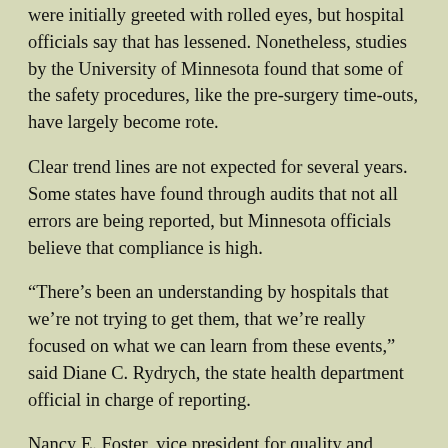were initially greeted with rolled eyes, but hospital officials say that has lessened. Nonetheless, studies by the University of Minnesota found that some of the safety procedures, like the pre-surgery time-outs, have largely become rote.
Clear trend lines are not expected for several years. Some states have found through audits that not all errors are being reported, but Minnesota officials believe that compliance is high.
“There’s been an understanding by hospitals that we’re not trying to get them, that we’re really focused on what we can learn from these events,” said Diane C. Rydrych, the state health department official in charge of reporting.
Nancy E. Foster, vice president for quality and patient safety at the American Hospital Association, said hospitals had generally accepted that many of the 28 adverse events should never happen, like giving a patient the